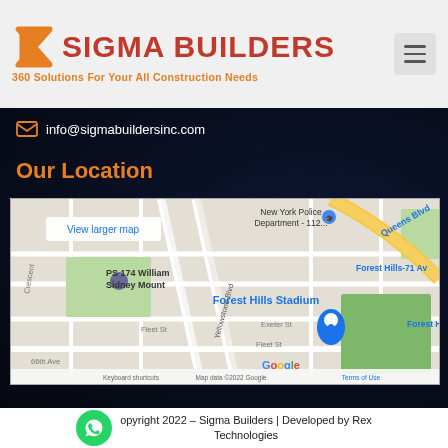[Figure (logo): Sigma Builders logo with orange sigma symbol and red text 'SIGMA BUILDERS', subtitle '360 Solutions For Your All Construction Needs']
info@sigmabuildersinc.com
Our Location
[Figure (map): Google Maps screenshot showing Forest Hills area of Queens, NY with landmarks including PS 174 William Sidney Mount, New York Police Department 112, Forest Hills Stadium, Queens Blvd, Forest Hills-71 Av, Yellowstone Blvd, Exeter St, Fleet St, 66th Ave. Footer text: Keyboard shortcuts | Map data ©2022 Google | Terms of Use]
opyright 2022 – Sigma Builders | Developed by Rex Technologies